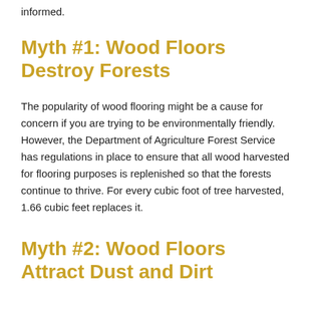informed.
Myth #1: Wood Floors Destroy Forests
The popularity of wood flooring might be a cause for concern if you are trying to be environmentally friendly. However, the Department of Agriculture Forest Service has regulations in place to ensure that all wood harvested for flooring purposes is replenished so that the forests continue to thrive. For every cubic foot of tree harvested, 1.66 cubic feet replaces it.
Myth #2: Wood Floors Attract Dust and Dirt